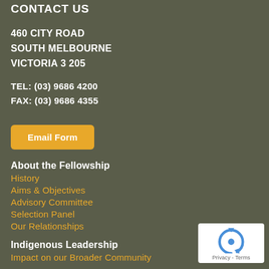CONTACT US
460 CITY ROAD
SOUTH MELBOURNE
VICTORIA 3205
TEL: (03) 9686 4200
FAX: (03) 9686 4355
Email Form
About the Fellowship
History
Aims & Objectives
Advisory Committee
Selection Panel
Our Relationships
Indigenous Leadership
Impact on our Broader Community
How to Apply
[Figure (logo): reCAPTCHA logo badge with arrow icon and Privacy - Terms text]